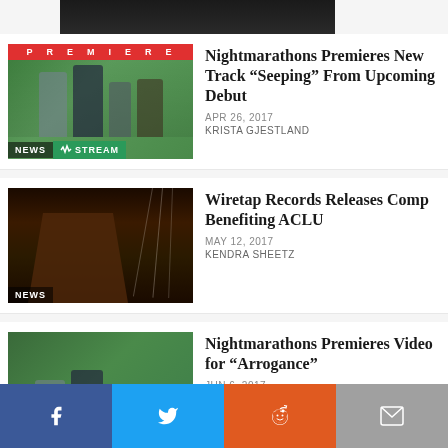[Figure (photo): Partial top image cropped, dark toned]
[Figure (photo): Band photo with PREMIERE banner and NEWS/STREAM tags, green background, four band members]
Nightmarathons Premieres New Track “Seeping” From Upcoming Debut
APR 26, 2017
KRISTA GJESTLAND
[Figure (photo): Building photo with wire lines, dark moody tones, NEWS tag]
Wiretap Records Releases Comp Benefiting ACLU
MAY 12, 2017
KENDRA SHEETZ
[Figure (photo): Band photo with NEWS tag, green background, four band members]
Nightmarathons Premieres Video for “Arrogance”
JUN 6, 2017
KRISTA GJESTLAND